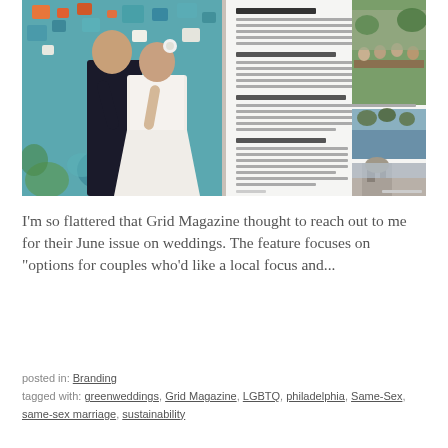[Figure (photo): Magazine spread showing two pages: left page has a photo of a couple kissing in front of a colorful mosaic wall (bride in white dress, groom in dark suit); right page has article text columns with a photo of an outdoor garden party/dinner reception at top right and two smaller photos at bottom right (a waterfront scene and a building exterior).]
I'm so flattered that Grid Magazine thought to reach out to me for their June issue on weddings. The feature focuses on "options for couples who'd like a local focus and...
posted in: Branding
tagged with: greenweddings, Grid Magazine, LGBTQ, philadelphia, Same-Sex, same-sex marriage, sustainability